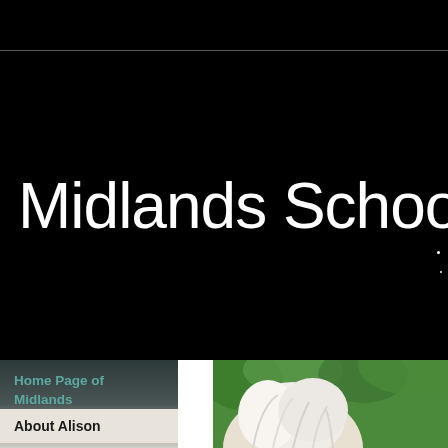Midlands School o
Home Page of Midlands School of Astrology UK
About Alison
[Figure (photo): Photo of a person with white/silver hair against green foliage background]